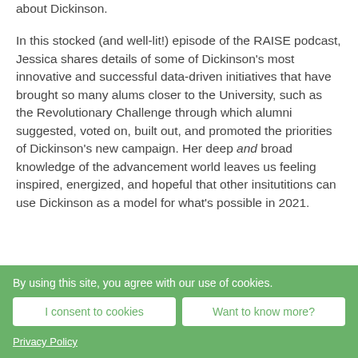about Dickinson.
In this stocked (and well-lit!) episode of the RAISE podcast, Jessica shares details of some of Dickinson's most innovative and successful data-driven initiatives that have brought so many alums closer to the University, such as the Revolutionary Challenge through which alumni suggested, voted on, built out, and promoted the priorities of Dickinson's new campaign. Her deep and broad knowledge of the advancement world leaves us feeling inspired, energized, and hopeful that other insitutitions can use Dickinson as a model for what's possible in 2021.
By using this site, you agree with our use of cookies.
I consent to cookies
Want to know more?
Privacy Policy